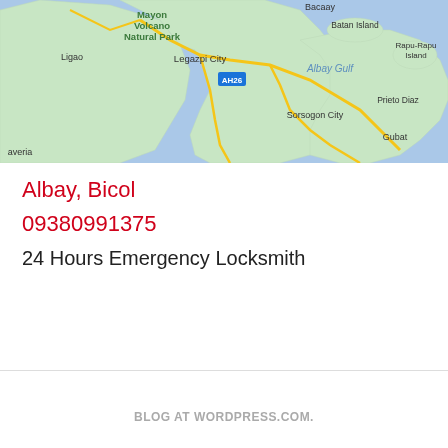[Figure (map): Google Maps view showing Albay, Bicol region in the Philippines, featuring Mayon Volcano Natural Park, Legazpi City, Ligao, Batan Island, Rapu-Rapu Island, Sorsogon City, Prieto Diaz, Gubat, Albay Gulf. AH26 highway marker visible.]
Albay, Bicol
09380991375
24 Hours Emergency Locksmith
BLOG AT WORDPRESS.COM.